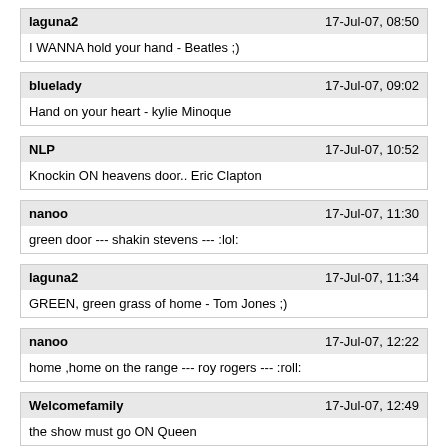laguna2 | 17-Jul-07, 08:50 | I WANNA hold your hand - Beatles ;)
bluelady | 17-Jul-07, 09:02 | Hand on your heart - kylie Minoque
NLP | 17-Jul-07, 10:52 | Knockin ON heavens door.. Eric Clapton
nanoo | 17-Jul-07, 11:30 | green door --- shakin stevens --- :lol:
laguna2 | 17-Jul-07, 11:34 | GREEN, green grass of home - Tom Jones ;)
nanoo | 17-Jul-07, 12:22 | home ,home on the range --- roy rogers --- :roll:
Welcomefamily | 17-Jul-07, 12:49 | the show must go ON Queen
laguna2 | 17-Jul-07, 16:19